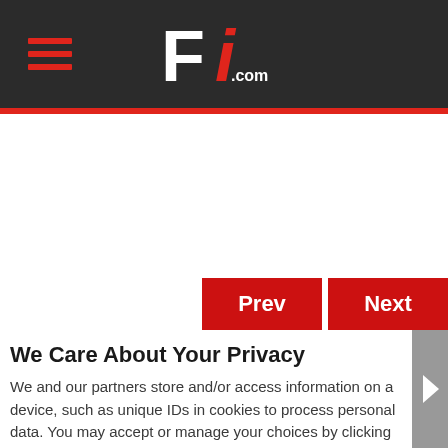F1.com header with hamburger menu and logo
[Figure (logo): F1.com logo — white F and red italic i with .com text, on dark background]
[Figure (screenshot): Prev and Next navigation buttons in red]
We Care About Your Privacy
We and our partners store and/or access information on a device, such as unique IDs in cookies to process personal data. You may accept or manage your choices by clicking below, including your right to object where legitimate interest is used, or at any time in the privacy policy page. These choices will be signaled to our partners and will not affect browsing data.